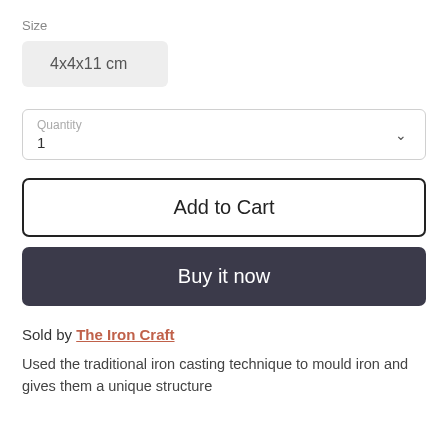Size
4x4x11 cm
Quantity
1
Add to Cart
Buy it now
Sold by The Iron Craft
Used the traditional iron casting technique to mould iron and gives them a unique structure